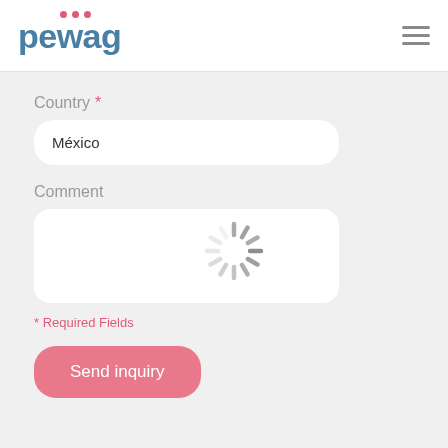[Figure (logo): pewag company logo with pink dots above letters and teal/blue text]
[Figure (other): hamburger menu icon (three horizontal gray lines)]
Country *
México
Comment
[Figure (other): Loading spinner / activity indicator]
* Required Fields
Send inquiry